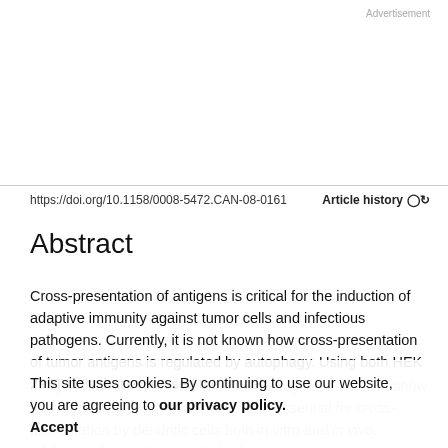Advertisement
https://doi.org/10.1158/0008-5472.CAN-08-0161
Article history
Abstract
Cross-presentation of antigens is critical for the induction of adaptive immunity against tumor cells and infectious pathogens. Currently, it is not known how cross-presentation of tumor antigens is regulated by autophagy. Using both HEK 293T cells that expressed the model antigen OVA and melanoma cells as antigen donors, we show that macroautophagy in tumor cells is essential for cross-presentation by dendritic cells both in vitro and in vivo. Inhibition of autophagy abolished cross-presentation
This site uses cookies. By continuing to use our website, you are agreeing to our privacy policy. Accept